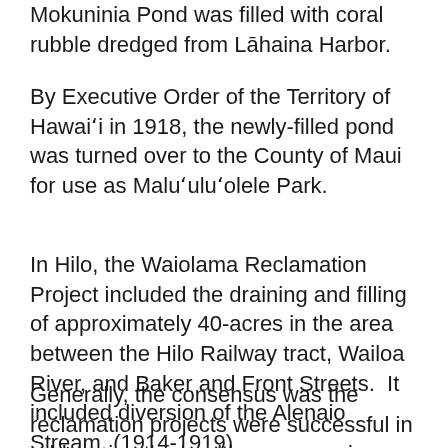Mokuninia Pond was filled with coral rubble dredged from Lāhaina Harbor.
By Executive Order of the Territory of Hawaiʻi in 1918, the newly-filled pond was turned over to the County of Maui for use as Maluʻuluʻolele Park.
In Hilo, the Waiolama Reclamation Project included the draining and filling of approximately 40-acres in the area between the Hilo Railway tract, Wailoa River, and Baker and Front Streets. It included diversion of the Alenaio Stream. (1914-1919)
Generally, the consensus was the reclamation projects were successful in addressing the health concerns; in addition, they made economic